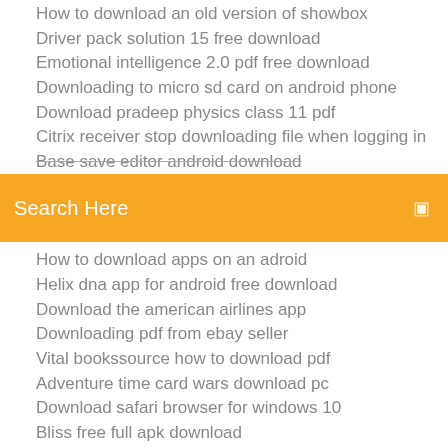How to download an old version of showbox
Driver pack solution 15 free download
Emotional intelligence 2.0 pdf free download
Downloading to micro sd card on android phone
Download pradeep physics class 11 pdf
Citrix receiver stop downloading file when logging in
Base save editor android download
Search Here
How to download apps on an adroid
Helix dna app for android free download
Download the american airlines app
Downloading pdf from ebay seller
Vital bookssource how to download pdf
Adventure time card wars download pc
Download safari browser for windows 10
Bliss free full apk download
Download tinder app for laptop
Which qt version to download